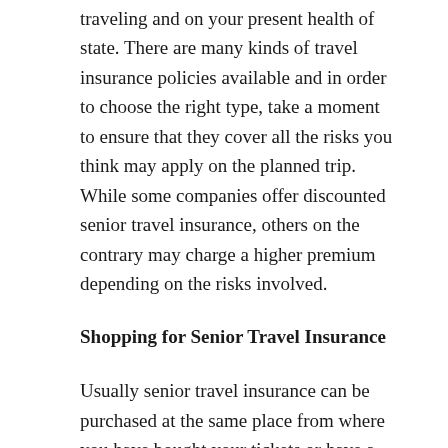traveling and on your present health of state. There are many kinds of travel insurance policies available and in order to choose the right type, take a moment to ensure that they cover all the risks you think may apply on the planned trip. While some companies offer discounted senior travel insurance, others on the contrary may charge a higher premium depending on the risks involved.
Shopping for Senior Travel Insurance
Usually senior travel insurance can be purchased at the same place from where you have bought your tickets or have a current insurance policy. Insurance companies offer senior travel insurance and in order to locate one, check online or in the yellow pages. Sometimes getting senior travel insurance can be expensive or time-consuming depending on the paperwork and therefore try and call first in